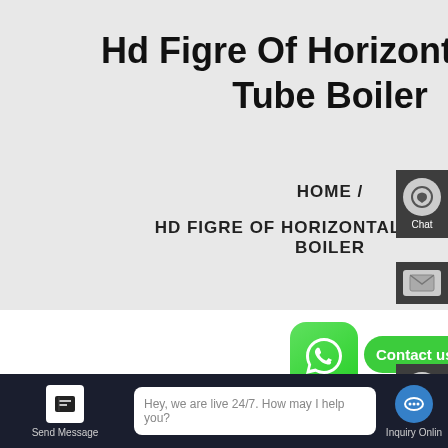Hd Figre Of Horizontal Fire Tube Boiler
HOME  /
HD FIGRE OF HORIZONTAL FIRE TUBE BOILER
[Figure (screenshot): Website screenshot showing a boiler product page with sidebar icons (Chat, Mail, TOP, chat bubble), WhatsApp contact button with 'Contact us now!' bubble, HOT NEWS section heading, blue circle icon, bottom navigation bar with Send Message, live chat input 'Hey, we are live 24/7. How may I help you?', and Inquiry Online button.]
HOT NEWS
Hey, we are live 24/7. How may I help you?
Send Message
Inquiry Online